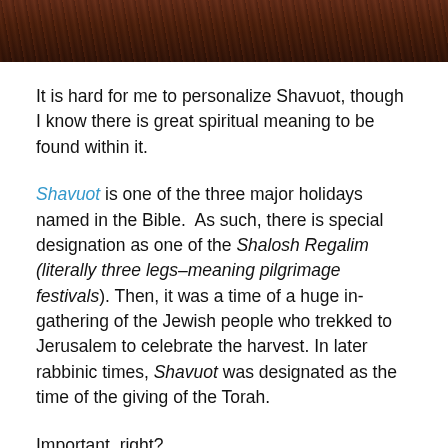[Figure (photo): Dark reddish-brown textured surface, possibly tree bark or rock, shown at the top of the page as a cropped photo strip.]
It is hard for me to personalize Shavuot, though I know there is great spiritual meaning to be found within it.
Shavuot is one of the three major holidays named in the Bible.  As such, there is special designation as one of the Shalosh Regalim (literally three legs–meaning pilgrimage festivals). Then, it was a time of a huge in-gathering of the Jewish people who trekked to Jerusalem to celebrate the harvest. In later rabbinic times, Shavuot was designated as the time of the giving of the Torah.
Important, right?
But, embedded within the two other holidays, Passover and Sukkot, there are tools that help me imagine as if I